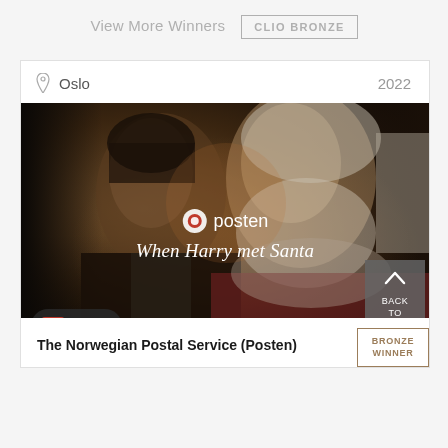View More Winners
CLIO BRONZE
Oslo   2022
[Figure (photo): Two men about to kiss — one dark-haired in a suit, one elderly with white beard resembling Santa Claus in a red fur coat. Posten logo and text 'When Harry met Santa' overlaid on the image. Help button in bottom-left corner, Back To Top button in bottom-right corner.]
The Norwegian Postal Service (Posten)
BRONZE WINNER